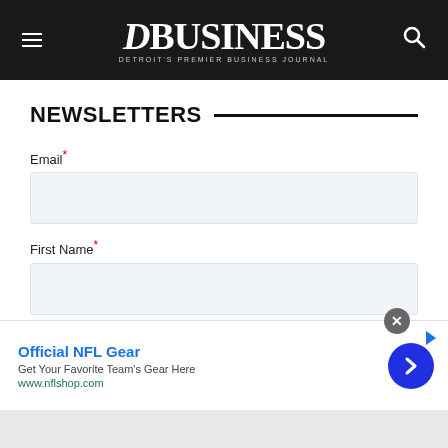DBusiness — Detroit's Premier Business Journal
NEWSLETTERS
Email*
First Name*
[Figure (screenshot): Advertisement banner: Official NFL Gear — Get Your Favorite Team's Gear Here — www.nflshop.com with close button and arrow navigation button]